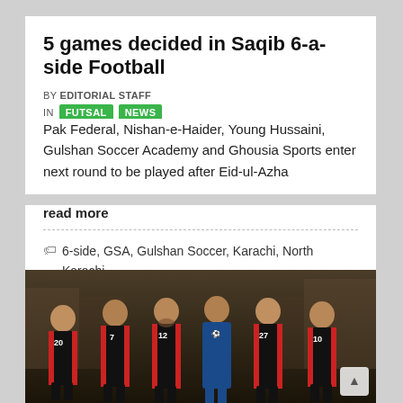5 games decided in Saqib 6-a-side Football
BY EDITORIAL STAFF
IN FUTSAL NEWS
Pak Federal, Nishan-e-Haider, Young Hussaini, Gulshan Soccer Academy and Ghousia Sports enter next round to be played after Eid-ul-Azha
read more
6-side, GSA, Gulshan Soccer, Karachi, North Karachi, Riaz Ahmed, Saqib Memorial, UP Gymkhana
[Figure (photo): Group photo of six football players in black and red jerseys with numbers 20, 7, 12, 27, 10, and one in a blue jersey, standing in a row indoors]